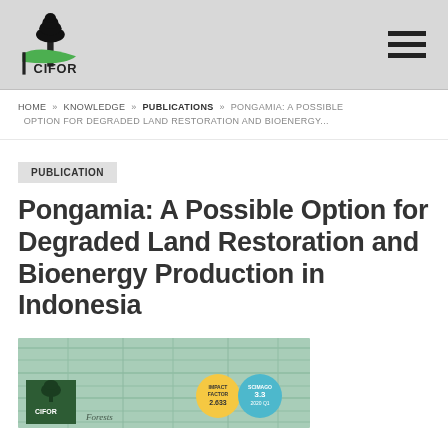CIFOR
HOME » KNOWLEDGE » PUBLICATIONS » PONGAMIA: A POSSIBLE OPTION FOR DEGRADED LAND RESTORATION AND BIOENERGY…
PUBLICATION
Pongamia: A Possible Option for Degraded Land Restoration and Bioenergy Production in Indonesia
[Figure (photo): Book cover of CIFOR publication on Pongamia with green wooden background, showing CIFOR logo, forestry imagery, impact factor badge (2.633) and SCIMAGO badge (3.3)]